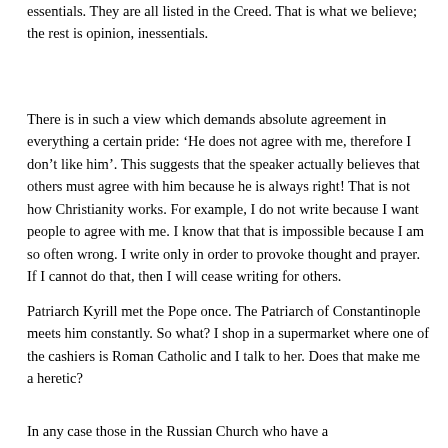essentials. They are all listed in the Creed. That is what we believe; the rest is opinion, inessentials.
There is in such a view which demands absolute agreement in everything a certain pride: 'He does not agree with me, therefore I don't like him'. This suggests that the speaker actually believes that others must agree with him because he is always right! That is not how Christianity works. For example, I do not write because I want people to agree with me. I know that that is impossible because I am so often wrong. I write only in order to provoke thought and prayer. If I cannot do that, then I will cease writing for others.
Patriarch Kyrill met the Pope once. The Patriarch of Constantinople meets him constantly. So what? I shop in a supermarket where one of the cashiers is Roman Catholic and I talk to her. Does that make me a heretic?
In any case those in the Russian Church who have a